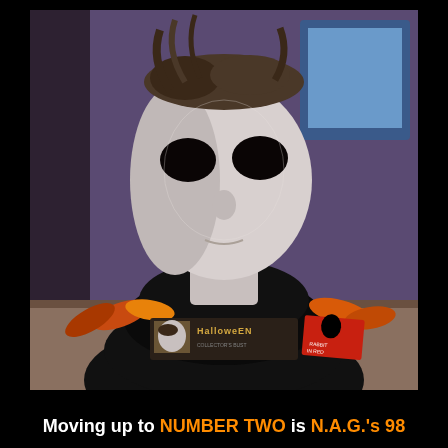[Figure (photo): A Halloween Michael Myers mask bust displayed on a table with autumn leaves. In front of the bust is a Halloween movie nameplate/tag and a red Rabbit in Red Lounge card. Background is a purple-lit room.]
Moving up to NUMBER TWO is N.A.G.'s 98